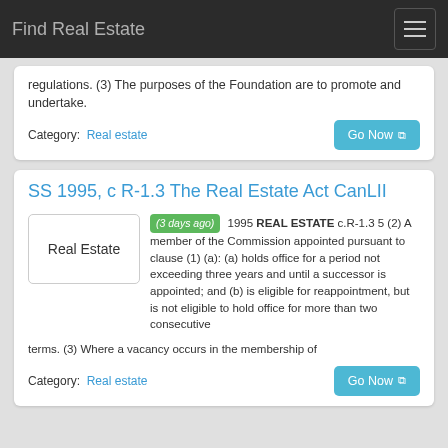Find Real Estate
regulations. (3) The purposes of the Foundation are to promote and undertake.
Category: Real estate
SS 1995, c R-1.3 The Real Estate Act CanLII
(3 days ago) 1995 REAL ESTATE c.R-1.3 5 (2) A member of the Commission appointed pursuant to clause (1) (a): (a) holds office for a period not exceeding three years and until a successor is appointed; and (b) is eligible for reappointment, but is not eligible to hold office for more than two consecutive terms. (3) Where a vacancy occurs in the membership of
Category: Real estate